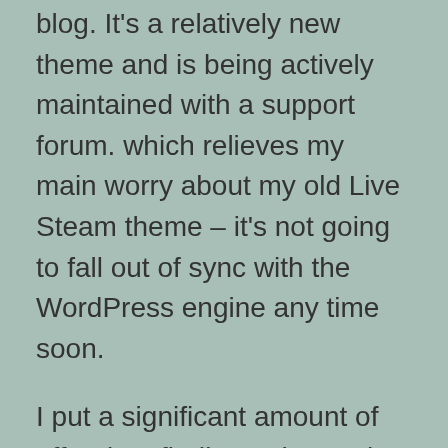blog. It's a relatively new theme and is being actively maintained with a support forum. which relieves my main worry about my old Live Steam theme – it's not going to fall out of sync with the WordPress engine any time soon.
I put a significant amount of effort into finding a theme that could carry forward the clean, minimalist look of Live Steam. It wasn't easy; most WP theme designers are in love with styles I find fancy, fussy, and overproduced. Even the default skin on this one is a bit too